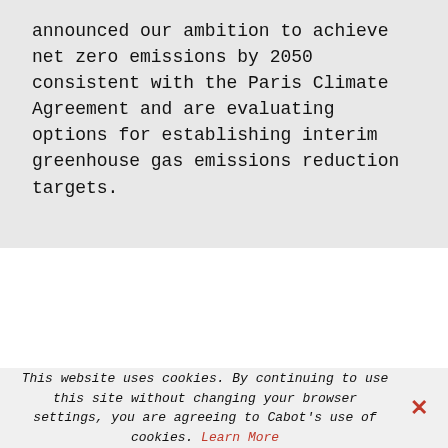announced our ambition to achieve net zero emissions by 2050 consistent with the Paris Climate Agreement and are evaluating options for establishing interim greenhouse gas emissions reduction targets.
This website uses cookies. By continuing to use this site without changing your browser settings, you are agreeing to Cabot's use of cookies. Learn More